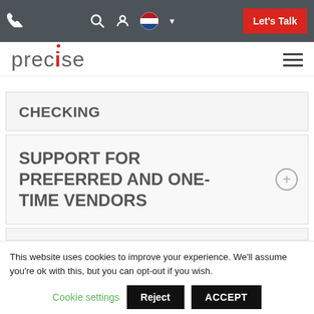Precise website navigation bar with phone icon, search, user, Dutch flag, and Let's Talk button
[Figure (logo): Precise company logo with red dot above 'i', and hamburger menu icon]
CHECKING
SUPPORT FOR PREFERRED AND ONE-TIME VENDORS
This website uses cookies to improve your experience. We'll assume you're ok with this, but you can opt-out if you wish.
Cookie settings  Reject  ACCEPT